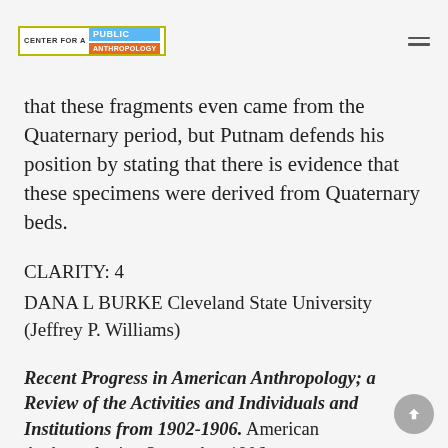CENTER FOR A PUBLIC ANTHROPOLOGY
that these fragments even came from the Quaternary period, but Putnam defends his position by stating that there is evidence that these specimens were derived from Quaternary beds.
CLARITY: 4
DANA L BURKE Cleveland State University (Jeffrey P. Williams)
Recent Progress in American Anthropology; a Review of the Activities and Individuals and Institutions from 1902-1906. American Anthropologist, September 1906